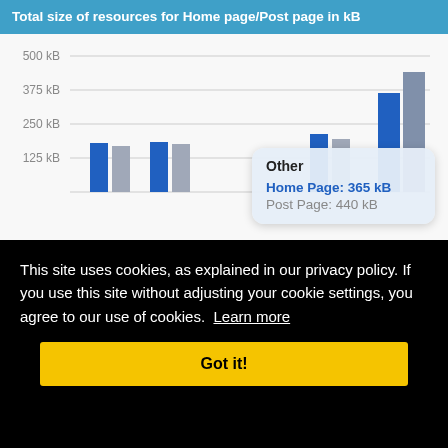[Figure (grouped-bar-chart): Total size of resources for Home page/Post page in kB]
This site uses cookies, as explained in our privacy policy. If you use this site without adjusting your cookie settings, you agree to our use of cookies. Learn more
Got it!